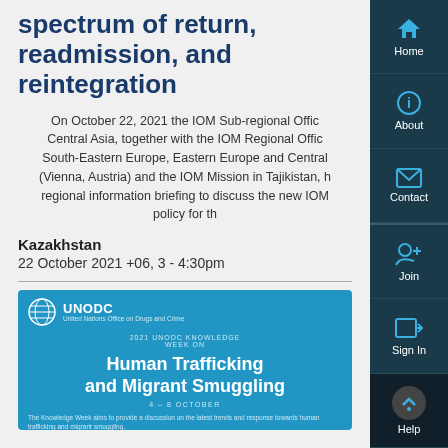spectrum of return, readmission, and reintegration
On October 22, 2021 the IOM Sub-regional Office for Central Asia, together with the IOM Regional Office for South-Eastern Europe, Eastern Europe and Central Asia (Vienna, Austria) and the IOM Mission in Tajikistan, held a regional information briefing to discuss the new IOM policy for th…
Kazakhstan
22 October 2021 +06, 3 - 4:30pm
[Figure (screenshot): UNODC banner for 2021 UNODC Knowledge Week on Human Trafficking and Migrant Smuggling, 4-8 October]